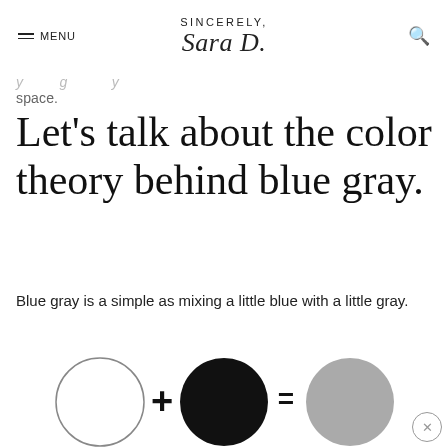SINCERELY, Sara D. — MENU [search]
…y …g …y space.
Let's talk about the color theory behind blue gray.
Blue gray is a simple as mixing a little blue with a little gray.
[Figure (infographic): Color mixing diagram: white circle + black filled circle = gray filled circle, showing that white plus black equals gray]